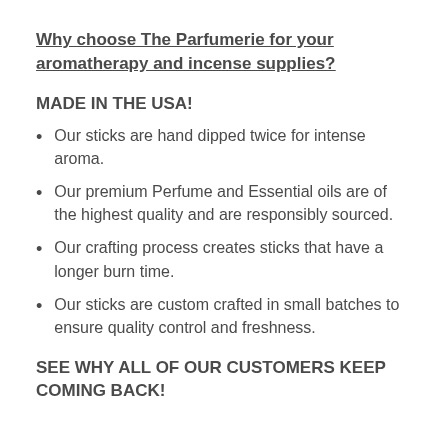Why choose The Parfumerie for your aromatherapy and incense supplies?
MADE IN THE USA!
Our sticks are hand dipped twice for intense aroma.
Our premium Perfume and Essential oils are of the highest quality and are responsibly sourced.
Our crafting process creates sticks that have a longer burn time.
Our sticks are custom crafted in small batches to ensure quality control and freshness.
SEE WHY ALL OF OUR CUSTOMERS KEEP COMING BACK!